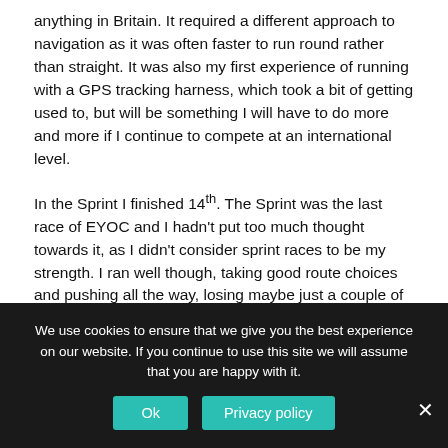anything in Britain. It required a different approach to navigation as it was often faster to run round rather than straight. It was also my first experience of running with a GPS tracking harness, which took a bit of getting used to, but will be something I will have to do more and more if I continue to compete at an international level.
In the Sprint I finished 14th. The Sprint was the last race of EYOC and I hadn't put too much thought towards it, as I didn't consider sprint races to be my strength. I ran well though, taking good route choices and pushing all the way, losing maybe just a couple of seconds over the whole course. I was happy with my run, even as I dropped down the leader board. I was slightly in awe of the winner's time though, he was 1min40
We use cookies to ensure that we give you the best experience on our website. If you continue to use this site we will assume that you are happy with it.